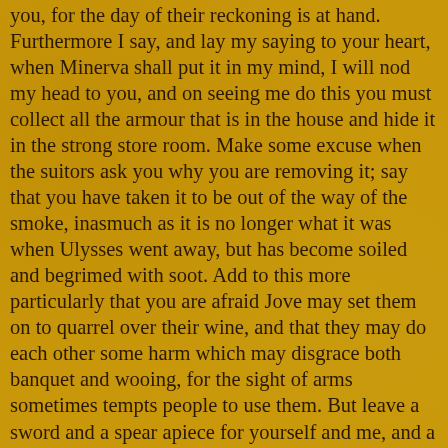you, for the day of their reckoning is at hand. Furthermore I say, and lay my saying to your heart, when Minerva shall put it in my mind, I will nod my head to you, and on seeing me do this you must collect all the armour that is in the house and hide it in the strong store room. Make some excuse when the suitors ask you why you are removing it; say that you have taken it to be out of the way of the smoke, inasmuch as it is no longer what it was when Ulysses went away, but has become soiled and begrimed with soot. Add to this more particularly that you are afraid Jove may set them on to quarrel over their wine, and that they may do each other some harm which may disgrace both banquet and wooing, for the sight of arms sometimes tempts people to use them. But leave a sword and a spear apiece for yourself and me, and a couple oxhide shields so that we can snatch them up at any moment; Jove and Minerva will then soon quiet these people. There is also another matter; if you are indeed my son and my blood runs in your veins, let no one know that Ulysses is within the house- neither Laertes, nor yet the swineherd, nor any of the servants, nor even Penelope herself. Let you and me exploit the women alone, and let us also make trial of some one of the men servants to see who is